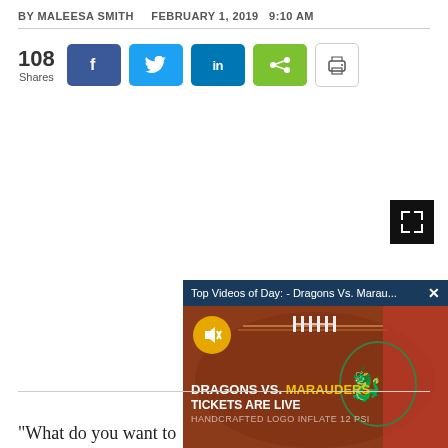BY MALEESA SMITH   FEBRUARY 1, 2019  9:10 AM
[Figure (screenshot): Social share bar with 108 Shares count, Facebook, Twitter, LinkedIn, share, and print buttons]
[Figure (screenshot): Video popup overlay: 'Top Videos of Day: - Dragons Vs. Marau...' with football background, mute button, Dragons mascot logo, text 'DRAGONS VS. MARAUDERS TICKETS ARE LIVE' and 'TEAM ISSUE' branding]
“What do you want to